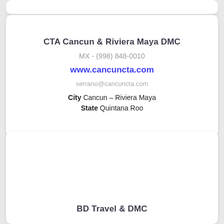CTA Cancun & Riviera Maya DMC
MX - (998) 848-0010
www.cancuncta.com
serrano@cancuncta.com
City  Cancun – Riviera Maya
State  Quintana Roo
BD Travel & DMC